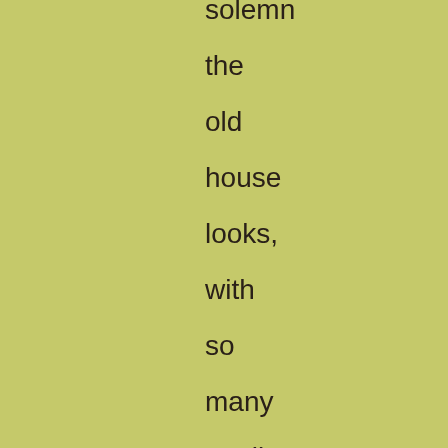solemn the old house looks, with so many appliances of habitation and with no inhabitants except the pictured forms